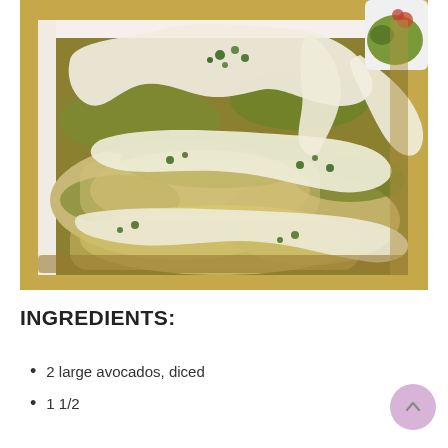[Figure (photo): Close-up photo of baked chicken enchiladas in a white baking dish, covered with melted white cheese being lifted/pulled, green tomatillo salsa, and chopped cilantro on top. A small bowl of guacamole is visible in the upper right corner.]
INGREDIENTS:
2 large avocados, diced
1 1/2...